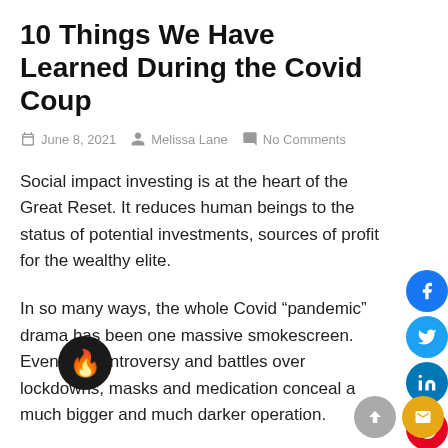10 Things We Have Learned During the Covid Coup
June 8, 2021   Melissa Lane   No Comments
Social impact investing is at the heart of the Great Reset. It reduces human beings to the status of potential investments, sources of profit for the wealthy elite.
In so many ways, the whole Covid “pandemic” drama has been one massive smokescreen. Even the controversy and battles over lockdowns, masks and medication conceal a much bigger and much darker operation.
Ultimately, World Economic Forum boss Klaus Schwab’s Great Reset is about launching a new era in